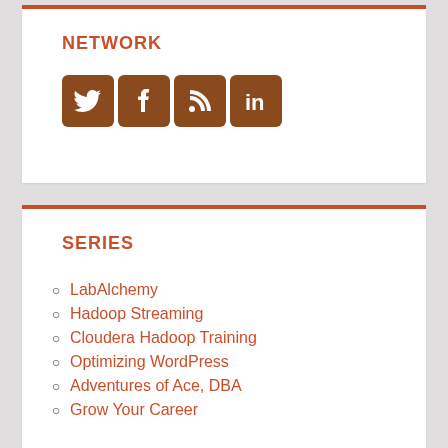NETWORK
[Figure (illustration): Four social media icon buttons in brown/orange square backgrounds: Twitter bird, Facebook f, RSS feed, LinkedIn in]
SERIES
LabAlchemy
Hadoop Streaming
Cloudera Hadoop Training
Optimizing WordPress
Adventures of Ace, DBA
Grow Your Career